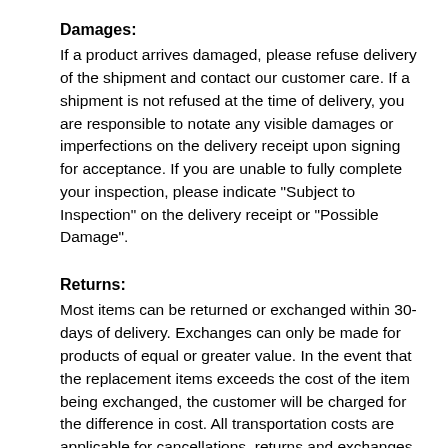Damages:
If a product arrives damaged, please refuse delivery of the shipment and contact our customer care. If a shipment is not refused at the time of delivery, you are responsible to notate any visible damages or imperfections on the delivery receipt upon signing for acceptance. If you are unable to fully complete your inspection, please indicate "Subject to Inspection" on the delivery receipt or "Possible Damage".
Returns:
Most items can be returned or exchanged within 30-days of delivery. Exchanges can only be made for products of equal or greater value. In the event that the replacement items exceeds the cost of the item being exchanged, the customer will be charged for the difference in cost. All transportation costs are applicable for cancellations, returns and exchanges once an order has been shipped or delivered.